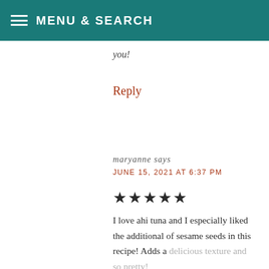MENU & SEARCH
you!
Reply
maryanne says
JUNE 15, 2021 AT 6:37 PM
★★★★★
I love ahi tuna and I especially liked the additional of sesame seeds in this recipe! Adds a delicious texture and so pretty!